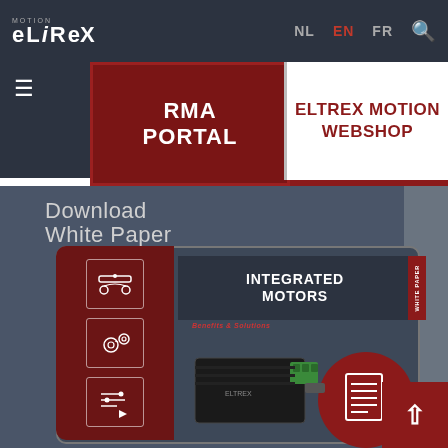[Figure (screenshot): Eltrex Motion website screenshot showing navigation bar with logo, language switcher (NL, EN, FR), search icon, hamburger menu, RMA Portal button, Eltrex Motion Webshop button, and a Download White Paper section featuring an Integrated Motors brochure with sidebar icons and a motor image.]